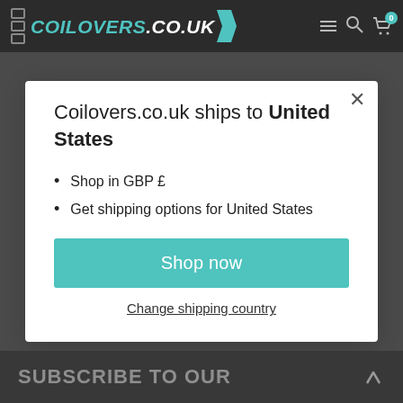COILOVERS.CO.UK
Coilovers.co.uk ships to United States
Shop in GBP £
Get shipping options for United States
Shop now
Change shipping country
SUBSCRIBE TO OUR